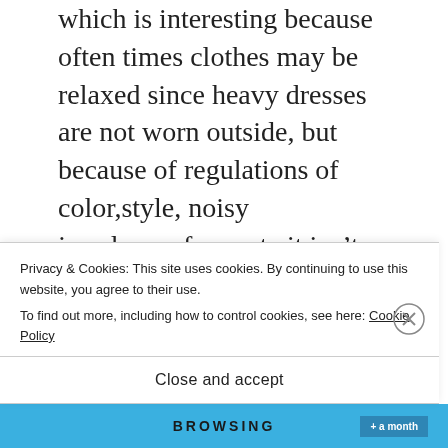which is interesting because often times clothes may be relaxed since heavy dresses are not worn outside, but because of regulations of color,style, noisy jewelry,perfume,etc it isn't uncommon for some women to dress up.
I guess future spouses should discuss this before they get married, I am not sure. You
Privacy & Cookies: This site uses cookies. By continuing to use this website, you agree to their use.
To find out more, including how to control cookies, see here: Cookie Policy
Close and accept